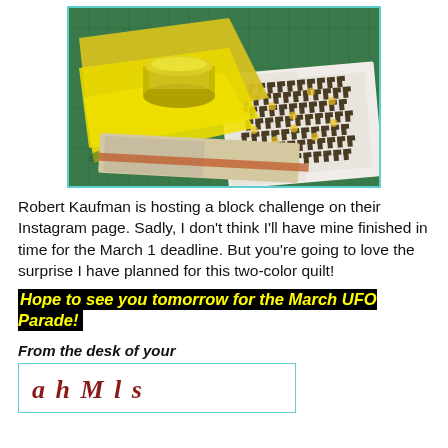[Figure (photo): Photo of yellow fabric folded with a yellow jar/tin on top, and open books/magazines showing a houndstooth pattern in yellow and black, on a green cutting mat background.]
Robert Kaufman is hosting a block challenge on their Instagram page. Sadly, I don't think I'll have mine finished in time for the March 1 deadline. But you're going to love the surprise I have planned for this two-color quilt!
Hope to see you tomorrow for the March UFO Parade!
From the desk of your
[Figure (other): Handwritten cursive signature in dark red/maroon color inside a cyan-bordered box, partially visible.]